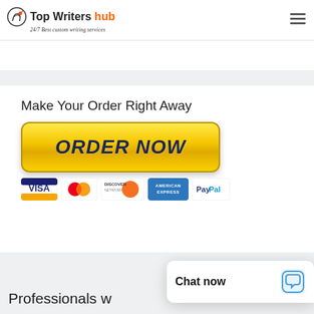[Figure (logo): Top Writers Hub logo with pencil/book icon and tagline '24/7 Best custom writing services']
[Figure (other): Hamburger menu icon (three horizontal lines)]
Make Your Order Right Away
[Figure (other): Yellow ORDER NOW button with payment icons: Visa, MasterCard, Discover, American Express, PayPal]
Professionals w
[Figure (other): Chat now popup bubble with chat icon]